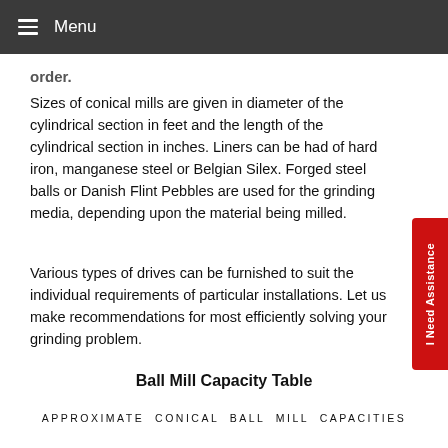≡ Menu
Sizes of conical mills are given in diameter of the cylindrical section in feet and the length of the cylindrical section in inches. Liners can be had of hard iron, manganese steel or Belgian Silex. Forged steel balls or Danish Flint Pebbles are used for the grinding media, depending upon the material being milled.
Various types of drives can be furnished to suit the individual requirements of particular installations. Let us make recommendations for most efficiently solving your grinding problem.
Ball Mill Capacity Table
APPROXIMATE CONICAL BALL MILL CAPACITIES